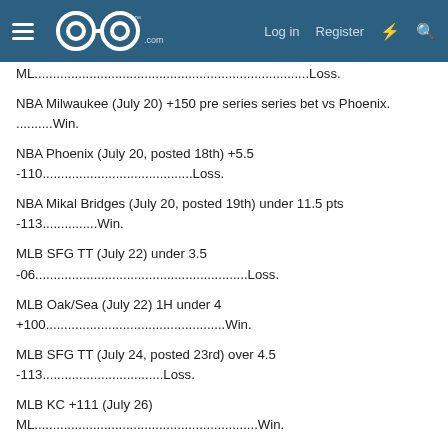GoG.com — Log in | Register
ML...Loss.
NBA Milwaukee (July 20) +150 pre series series bet vs Phoenix. ..........Win.
NBA Phoenix (July 20, posted 18th) +5.5 -110.........................................Loss.
NBA Mikal Bridges (July 20, posted 19th) under 11.5 pts -113...............Win.
MLB SFG TT (July 22) under 3.5
-06..........................................................Loss.
MLB Oak/Sea (July 22) 1H under 4 +100.................................................Win.
MLB SFG TT (July 24, posted 23rd) over 4.5 -113.................................Loss.
MLB KC +111 (July 26)
ML.............................................................Win.
MLB CWS -140 (July 27)
ML.............................................................Win.
MLB DET/MIN (July 28) over 10
-103............................................Win.